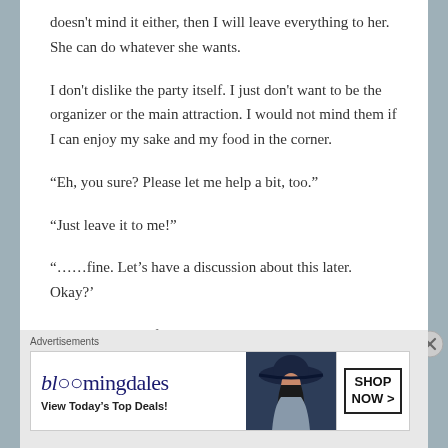doesn't mind it either, then I will leave everything to her. She can do whatever she wants.
I don't dislike the party itself. I just don't want to be the organizer or the main attraction. I would not mind them if I can enjoy my sake and my food in the corner.
“Eh, you sure? Please let me help a bit, too.”
“Just leave it to me!”
“……fine. Let’s have a discussion about this later. Okay?’
She brings herself closer and whispers to my ear.
[Figure (other): Bloomingdale's advertisement banner with logo, 'View Today's Top Deals!' tagline, woman in large hat, and SHOP NOW button]